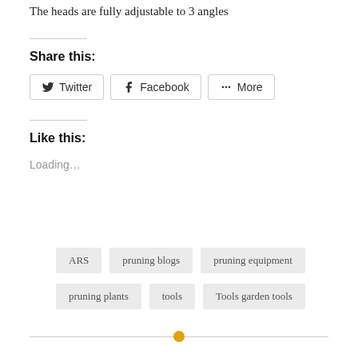The heads are fully adjustable to 3 angles
Share this:
Twitter  Facebook  More
Like this:
Loading...
ARS
pruning blogs
pruning equipment
pruning plants
tools
Tools garden tools